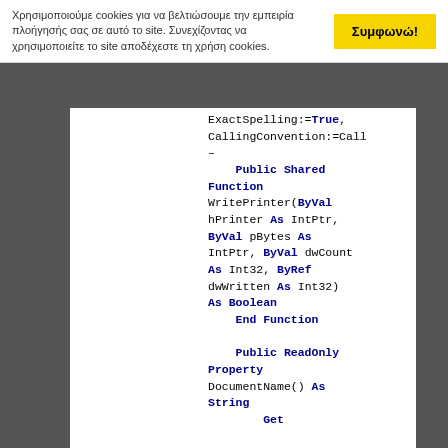Χρησιμοποιούμε cookies για να βελτιώσουμε την εμπειρία πλοήγησής σας σε αυτό το site. Συνεχίζοντας να χρησιμοποιείτε το site αποδέχεστε τη χρήση cookies.
Συμφωνώ!
ExactSpelling:=True, CallingConvention:=Call
–
    Public Shared Function WritePrinter(ByVal hPrinter As IntPtr, ByVal pBytes As IntPtr, ByVal dwCount As Int32, ByRef dwWritten As Int32) As Boolean
    End Function

    Public ReadOnly Property DocumentName() As String
            Get

DocumentName = thisDocInfo.pDocName
            End Get
    End Property

    Public ReadOnly Property
DocumentDatatype()